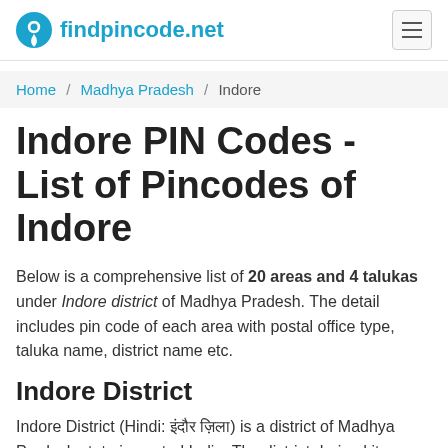findpincode.net
Home / Madhya Pradesh / Indore
Indore PIN Codes - List of Pincodes of Indore
Below is a comprehensive list of 20 areas and 4 talukas under Indore district of Madhya Pradesh. The detail includes pin code of each area with postal office type, taluka name, district name etc.
Indore District
Indore District (Hindi: इंदौर ज़िला) is a district of Madhya Pradesh state in central India. The district derived its name from the city of Indore, which serves as its administrative headquarters. This district is part of the Indore Division.